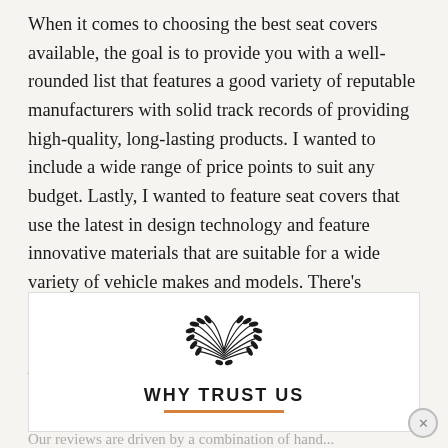When it comes to choosing the best seat covers available, the goal is to provide you with a well-rounded list that features a good variety of reputable manufacturers with solid track records of providing high-quality, long-lasting products. I wanted to include a wide range of price points to suit any budget. Lastly, I wanted to feature seat covers that use the latest in design technology and feature innovative materials that are suitable for a wide variety of vehicle makes and models. There’s literally something for everyone. For more info on selection criteria, click this link to The Drive’s Gear About page, which explains our methodology further.
[Figure (illustration): Laurel wreath icon in black above WHY TRUST US heading]
WHY TRUST US
Our reviews are driven by a combination of hands-on...